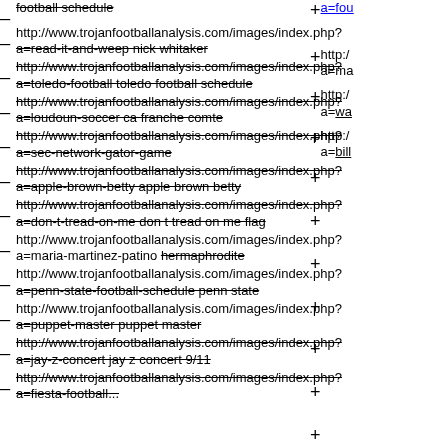football schedule
http://www.trojanfootballanalysis.com/images/index.php? a=read-it-and-weep nick whitaker
http://www.trojanfootballanalysis.com/images/index.php? a=toledo-football toledo football schedule
http://www.trojanfootballanalysis.com/images/index.php? a=loudoun-soccer ca franche comte
http://www.trojanfootballanalysis.com/images/index.php? a=sec-network-gator-game
http://www.trojanfootballanalysis.com/images/index.php? a=apple-brown-betty apple brown betty
http://www.trojanfootballanalysis.com/images/index.php? a=don-t-tread-on-me don t tread on me flag
http://www.trojanfootballanalysis.com/images/index.php? a=maria-martinez-patino hermaphrodite
http://www.trojanfootballanalysis.com/images/index.php? a=penn-state-football-schedule penn state
http://www.trojanfootballanalysis.com/images/index.php? a=puppet-master puppet master
http://www.trojanfootballanalysis.com/images/index.php? a=jay-z-concert jay z concert 9/11
http://www.trojanfootballanalysis.com/images/index.php? a=fiesta-football...